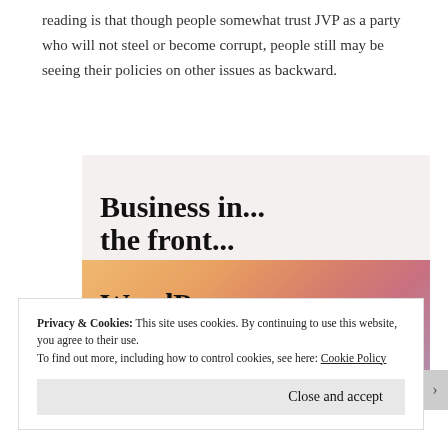reading is that though people somewhat trust JVP as a party who will not steel or become corrupt, people still may be seeing their policies on other issues as backward.
[Figure (screenshot): Advertisement image with two sections: top light gray section with bold text 'Business in... the front...' and bottom colorful gradient section with bold text 'WordPress in the back.']
Privacy & Cookies: This site uses cookies. By continuing to use this website, you agree to their use. To find out more, including how to control cookies, see here: Cookie Policy
Close and accept